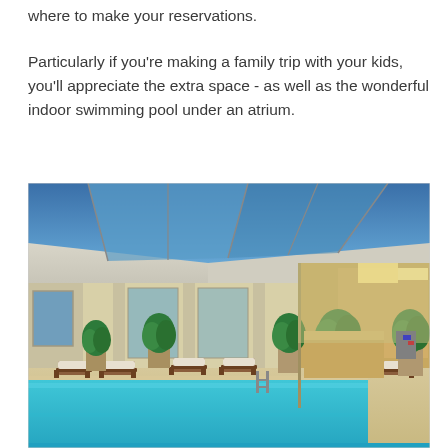where to make your reservations.
Particularly if you're making a family trip with your kids, you'll appreciate the extra space - as well as the wonderful indoor swimming pool under an atrium.
[Figure (photo): Indoor hotel swimming pool with atrium skylight ceiling showing blue sky, surrounded by lounge chairs, potted plants, and a bar/reception area with warm lighting.]